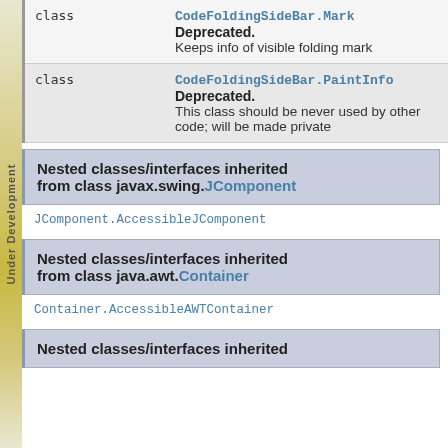| type | description |
| --- | --- |
| class | CodeFoldingSideBar.Mark
Deprecated.
Keeps info of visible folding mark |
| class | CodeFoldingSideBar.PaintInfo
Deprecated.
This class should be never used by other code; will be made private |
Nested classes/interfaces inherited from class javax.swing.JComponent
JComponent.AccessibleJComponent
Nested classes/interfaces inherited from class java.awt.Container
Container.AccessibleAWTContainer
Nested classes/interfaces inherited